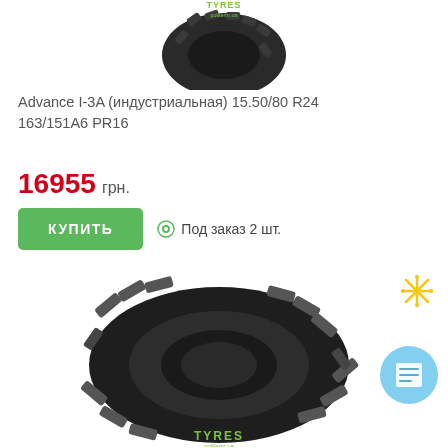[Figure (photo): Close-up of a dark tractor/industrial tire tread at the top of the page]
Advance I-3A (индустриальная) 15.50/80 R24 163/151A6 PR16
16955 грн.
КУПИТЬ
Под заказ 2 шт.
[Figure (photo): Large agricultural/industrial tractor tire with aggressive tread pattern, viewed at an angle. TYRES logo visible at bottom.]